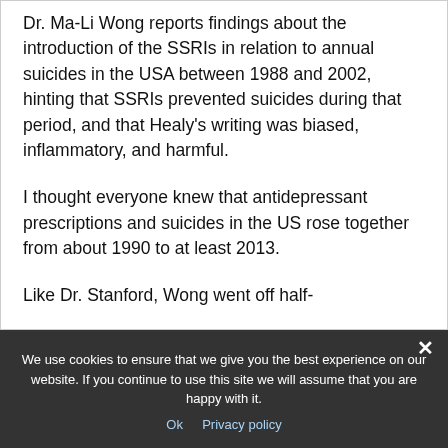Dr. Ma-Li Wong reports findings about the introduction of the SSRIs in relation to annual suicides in the USA between 1988 and 2002, hinting that SSRIs prevented suicides during that period, and that Healy’s writing was biased, inflammatory, and harmful.
I thought everyone knew that antidepressant prescriptions and suicides in the US rose together from about 1990 to at least 2013.
Like Dr. Stanford, Wong went off half-
We use cookies to ensure that we give you the best experience on our website. If you continue to use this site we will assume that you are happy with it.
Ok   Privacy policy